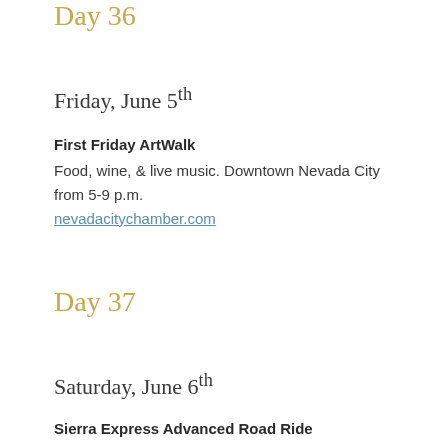Day 36
Friday, June 5th
First Friday ArtWalk
Food, wine, & live music. Downtown Nevada City from 5-9 p.m.
nevadacitychamber.com
Day 37
Saturday, June 6th
Sierra Express Advanced Road Ride